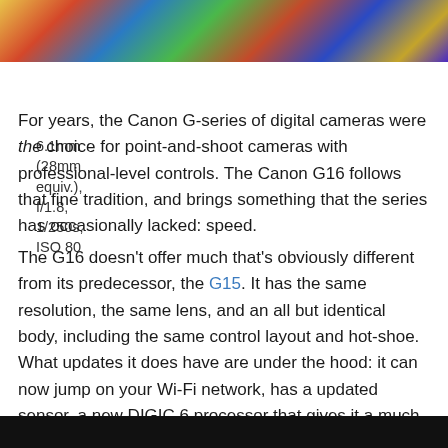[Figure (photo): Colorful stained glass or geometric pattern image cropped at top of page]
6.1mm (28mm equiv.), f/1.8, 1/250s, ISO 80
For years, the Canon G-series of digital cameras were the choice for point-and-shoot cameras with professional-level controls. The Canon G16 follows that fine tradition, and brings something that the series has occasionally lacked: speed.
The G16 doesn't offer much that's obviously different from its predecessor, the G15. It has the same resolution, the same lens, and an all but identical body, including the same control layout and hot-shoe. What updates it does have are under the hood: it can now jump on your Wi-Fi network, has a updated sensor, a new DIGIC 6 processor that gives it a much needed speed boost, as well as a number of new firmware features.
[Figure (photo): Black bar at the bottom of the page]